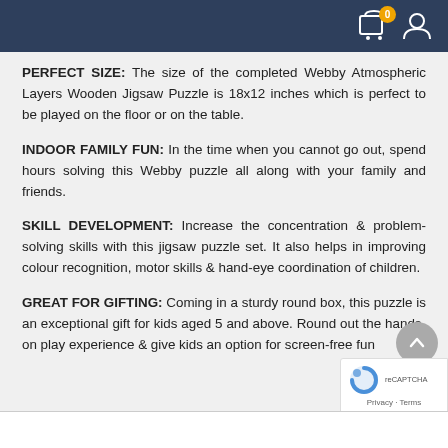Navigation bar with cart (0) and user icons
PERFECT SIZE: The size of the completed Webby Atmospheric Layers Wooden Jigsaw Puzzle is 18x12 inches which is perfect to be played on the floor or on the table.
INDOOR FAMILY FUN: In the time when you cannot go out, spend hours solving this Webby puzzle all along with your family and friends.
SKILL DEVELOPMENT: Increase the concentration & problem-solving skills with this jigsaw puzzle set. It also helps in improving colour recognition, motor skills & hand-eye coordination of children.
GREAT FOR GIFTING: Coming in a sturdy round box, this puzzle is an exceptional gift for kids aged 5 and above. Round out the hands-on play experience & give kids an option for screen-free fun
Privacy · Terms